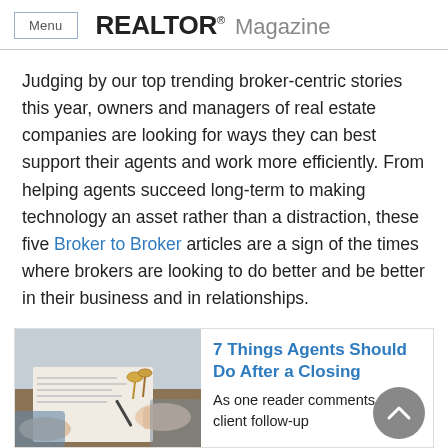Menu  REALTOR® Magazine
Judging by our top trending broker-centric stories this year, owners and managers of real estate companies are looking for ways they can best support their agents and work more efficiently. From helping agents succeed long-term to making technology an asset rather than a distraction, these five Broker to Broker articles are a sign of the times where brokers are looking to do better and be better in their business and in relationships.
[Figure (photo): Photo of hands signing a document with keys on a table, representing a real estate closing.]
7 Things Agents Should Do After a Closing
As one reader comments, the client follow-up